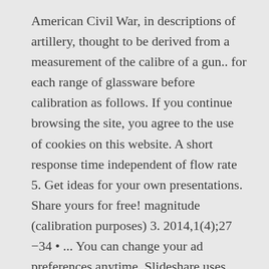American Civil War, in descriptions of artillery, thought to be derived from a measurement of the calibre of a gun.. for each range of glassware before calibration as follows. If you continue browsing the site, you agree to the use of cookies on this website. A short response time independent of flow rate 5. Get ideas for your own presentations. Share yours for free! magnitude (calibration purposes) 3. 2014,1(4);27 −34 • ... You can change your ad preferences anytime. Slideshare uses cookies to improve functionality and performance, and to provide you with relevant advertising. January 8, ... Analytical Instruments As a further improvement in GC, the gas chromatography apparatus is fixed with Mass spectroscopy